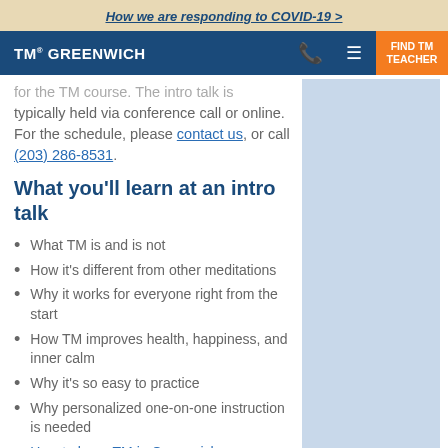How we are responding to COVID-19 >
TM® GREENWICH  FIND TM TEACHER
for the TM course. The intro talk is typically held via conference call or online. For the schedule, please contact us, or call (203) 286-8531.
What you'll learn at an intro talk
What TM is and is not
How it's different from other meditations
Why it works for everyone right from the start
How TM improves health, happiness, and inner calm
Why it's so easy to practice
Why personalized one-on-one instruction is needed
How to learn TM in Greenwich